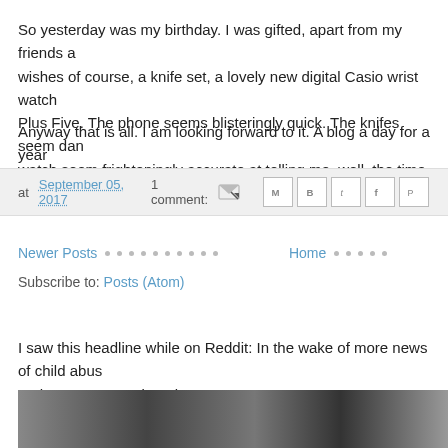So yesterday was my birthday. I was gifted, apart from my friends and wishes of course, a knife set, a lovely new digital Casio wrist watch and Plus Five. The phone seems blisteringly quick. The knifes seem dan... watch seem frighteningly accurate at telling me, well, the time I gues...
Anyway that is all. I am looking forward to it. A blog a day for a year...
at September 05, 2017   1 comment:
Newer Posts
Home
Subscribe to: Posts (Atom)
I saw this headline while on Reddit: In the wake of more news of child abus... perhaps we owe Sinead O'Co...
[Figure (photo): Black and white photograph, partially visible at bottom of page]